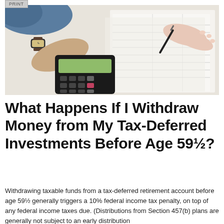[Figure (photo): Overhead view of two people's hands working at a desk with a calculator and tax/financial documents, one hand pointing at the calculator, the other holding a pen over paperwork.]
What Happens If I Withdraw Money from My Tax-Deferred Investments Before Age 59½?
Withdrawing taxable funds from a tax-deferred retirement account before age 59½ generally triggers a 10% federal income tax penalty, on top of any federal income taxes due. (Distributions from Section 457(b) plans are generally not subject to an early distribution